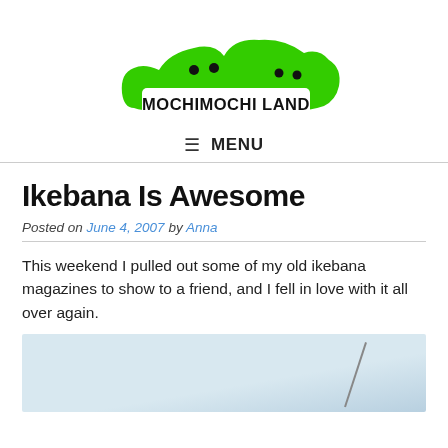[Figure (logo): Mochimochi Land green blob logo with white text reading MOCHIMOCHI LAND]
≡ MENU
Ikebana Is Awesome
Posted on June 4, 2007 by Anna
This weekend I pulled out some of my old ikebana magazines to show to a friend, and I fell in love with it all over again.
[Figure (photo): Partial photo of an ikebana arrangement on a light blue/grey background with a thin stem visible]